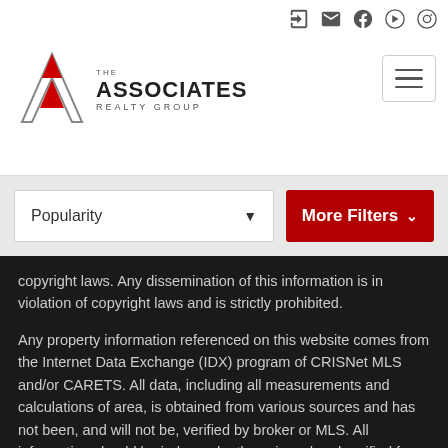[Figure (logo): The Associates Realty Group logo with red triangle/A mark and text]
Popularity
More Filters
copyright laws. Any dissemination of this information is in violation of copyright laws and is strictly prohibited.
Any property information referenced on this website comes from the Internet Data Exchange (IDX) program of CRISNet MLS and/or CARETS. All data, including all measurements and calculations of area, is obtained from various sources and has not been, and will not be, verified by broker or MLS. All information should be independently reviewed and verified for accuracy. Properties may or may not be listed by the office/agent presenting the